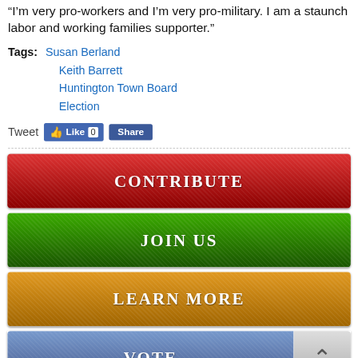“I’m very pro-workers and I’m very pro-military. I am a staunch labor and working families supporter.”
Tags: Susan Berland
Keith Barrett
Huntington Town Board
Election
[Figure (screenshot): Social media Tweet button, Facebook Like button showing 0, and Share button]
[Figure (infographic): Red CONTRIBUTE button]
[Figure (infographic): Green JOIN US button]
[Figure (infographic): Orange/gold LEARN MORE button]
[Figure (infographic): Blue VOTE button with grey back-to-top arrow button]
UPCOMING EVENTS
BACK TO TOP